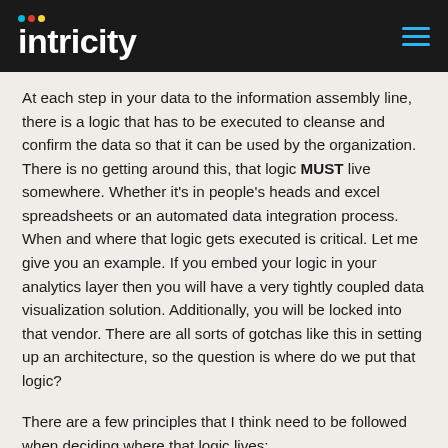intricity
At each step in your data to the information assembly line, there is a logic that has to be executed to cleanse and confirm the data so that it can be used by the organization. There is no getting around this, that logic MUST live somewhere. Whether it's in people's heads and excel spreadsheets or an automated data integration process. When and where that logic gets executed is critical. Let me give you an example. If you embed your logic in your analytics layer then you will have a very tightly coupled data visualization solution. Additionally, you will be locked into that vendor. There are all sorts of gotchas like this in setting up an architecture, so the question is where do we put that logic?
There are a few principles that I think need to be followed when deciding where that logic lives:
First, minimize reliance on a single vendor. Often vendors will